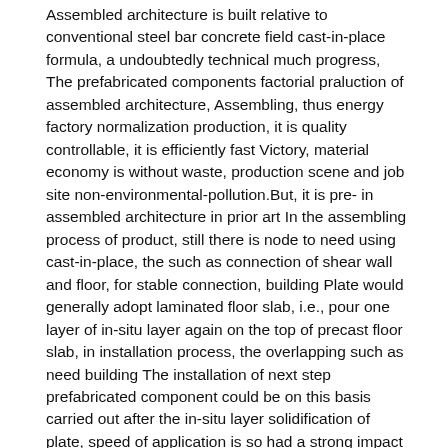Assembled architecture is built relative to conventional steel bar concrete field cast-in-place formula, a undoubtedly technical much progress, The prefabricated components factorial praluction of assembled architecture, Assembling, thus energy factory normalization production, it is quality controllable, it is efficiently fast Victory, material economy is without waste, production scene and job site non-environmental-pollution.But, it is pre- in assembled architecture in prior art In the assembling process of product, still there is node to need using cast-in-place, the such as connection of shear wall and floor, for stable connection, building Plate would generally adopt laminated floor slab, i.e., pour one layer of in-situ layer again on the top of precast floor slab, in installation process, the overlapping such as need building The installation of next step prefabricated component could be on this basis carried out after the in-situ layer solidification of plate, speed of application is so had a strong impact on, is dropped Low efficiency of construction, while cast in situs will inevitably carry out the operation such as formwork, concreting, causes job site to complicate, and makes Construction cost is increased while into potential safety hazard.